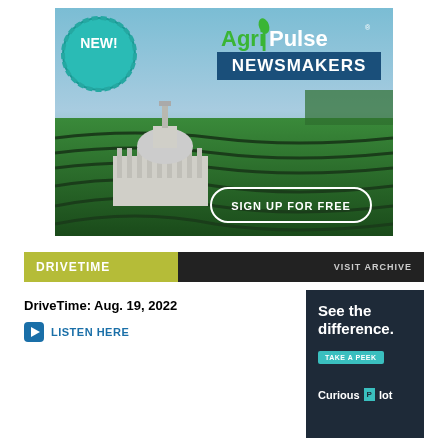[Figure (illustration): AgriPulse Newsmakers advertisement banner showing US Capitol building in a green farm field, with 'NEW!' badge, AgriPulse Newsmakers logo, and 'SIGN UP FOR FREE' button]
DRIVETIME   VISIT ARCHIVE
DriveTime: Aug. 19, 2022
LISTEN HERE
[Figure (illustration): Curious Plot advertisement - dark navy background with 'See the difference.' text and 'TAKE A PEEK' teal button and Curious Plot logo]